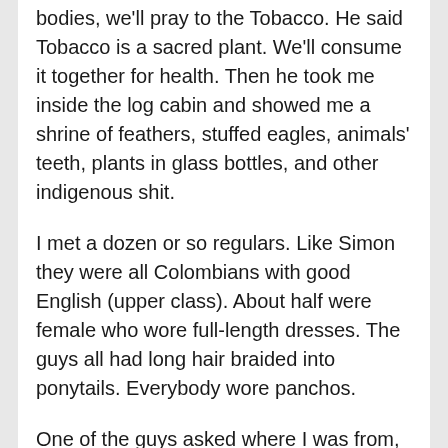bodies, we'll pray to the Tobacco. He said Tobacco is a sacred plant. We'll consume it together for health. Then he took me inside the log cabin and showed me a shrine of feathers, stuffed eagles, animals' teeth, plants in glass bottles, and other indigenous shit.
I met a dozen or so regulars. Like Simon they were all Colombians with good English (upper class). About half were female who wore full-length dresses. The guys all had long hair braided into ponytails. Everybody wore panchos.
One of the guys asked where I was from, and I told him America. Simon noted they take a lot from American culture, Native American culture. I